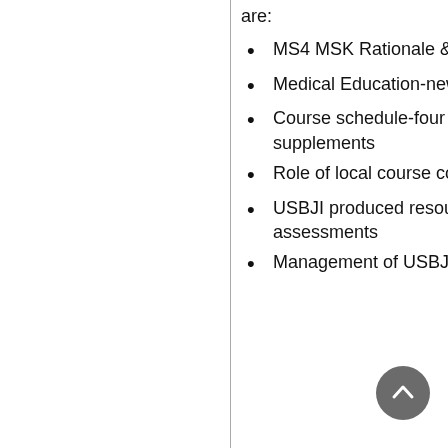are:
MS4 MSK Rationale & organization
Medical Education-new pedagogy
Course schedule-four week general and two week supplements
Role of local course coordinators
USBJI produced resources-videos, cases, labs, assessments
Management of USBJI Course Materials